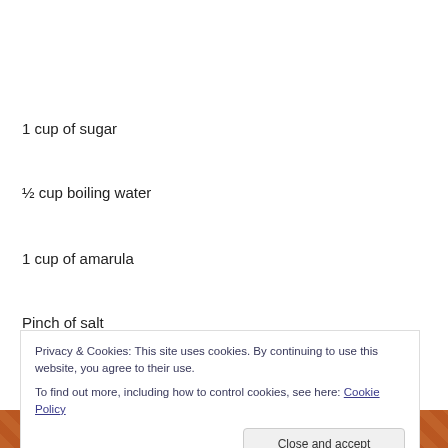1 cup of sugar
½ cup boiling water
1 cup of amarula
Pinch of salt
Melt the butter in a pot over the fire, then stir in all the
Privacy & Cookies: This site uses cookies. By continuing to use this website, you agree to their use.
To find out more, including how to control cookies, see here: Cookie Policy
[Figure (photo): Photo strip at bottom showing food item with orange-brown color]